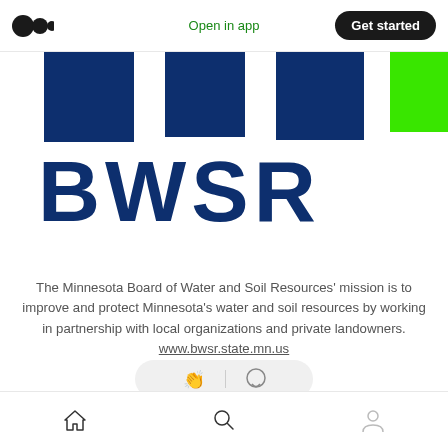[Figure (logo): Medium app logo — two dark circles (one large, one medium) forming the Medium 'M' icon in top-left nav bar]
Open in app
Get started
[Figure (illustration): Four large colored squares in a row: three navy blue and one bright green (partially cropped at top)]
[Figure (logo): BWSR logotype — large bold dark navy letters spelling BWSR]
The Minnesota Board of Water and Soil Resources' mission is to improve and protect Minnesota's water and soil resources by working in partnership with local organizations and private landowners. www.bwsr.state.mn.us
[Figure (illustration): Clapping hands emoji icon and speech bubble / comment icon on a rounded pill-shaped light gray background]
[Figure (illustration): Bottom partial action bar with bookmark and share icons (partially visible)]
[Figure (illustration): Bottom navigation toolbar with home, search, and profile icons]